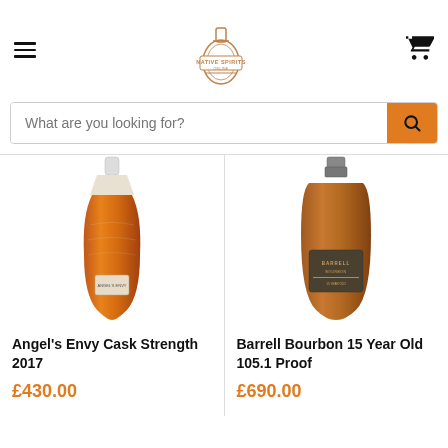[Figure (logo): Native Spirits Online logo - bottle illustration with text]
What are you looking for?
[Figure (photo): Angel's Envy Cask Strength 2017 whiskey bottle]
Angel's Envy Cask Strength 2017
£430.00
[Figure (photo): Barrell Bourbon 15 Year Old 105.1 Proof bottle]
Barrell Bourbon 15 Year Old 105.1 Proof
£690.00